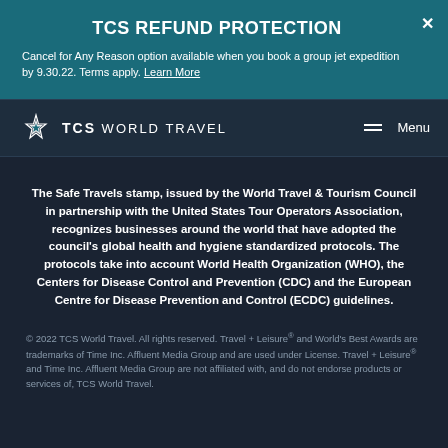TCS REFUND PROTECTION
Cancel for Any Reason option available when you book a group jet expedition by 9.30.22. Terms apply. Learn More
[Figure (logo): TCS World Travel logo with star icon]
The Safe Travels stamp, issued by the World Travel & Tourism Council in partnership with the United States Tour Operators Association, recognizes businesses around the world that have adopted the council's global health and hygiene standardized protocols. The protocols take into account World Health Organization (WHO), the Centers for Disease Control and Prevention (CDC) and the European Centre for Disease Prevention and Control (ECDC) guidelines.
© 2022 TCS World Travel. All rights reserved. Travel + Leisure® and World's Best Awards are trademarks of Time Inc. Affluent Media Group and are used under License. Travel + Leisure® and Time Inc. Affluent Media Group are not affiliated with, and do not endorse products or services of, TCS World Travel.